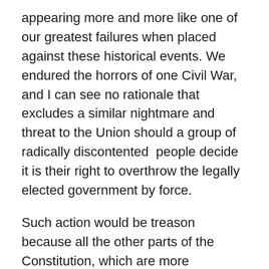appearing more and more like one of our greatest failures when placed against these historical events. We endured the horrors of one Civil War, and I can see no rationale that excludes a similar nightmare and threat to the Union should a group of radically discontented  people decide it is their right to overthrow the legally elected government by force.
Such action would be treason because all the other parts of the Constitution, which are more important than the 2nd Amendment, are the solid foundation we enjoy as a nation of laws as well as providing for the orderly transfer of power every eight years at the most, ensuring that democracy and freedom remain the keystone of The Republic.
What we have seen in the events unfolding in Africa and